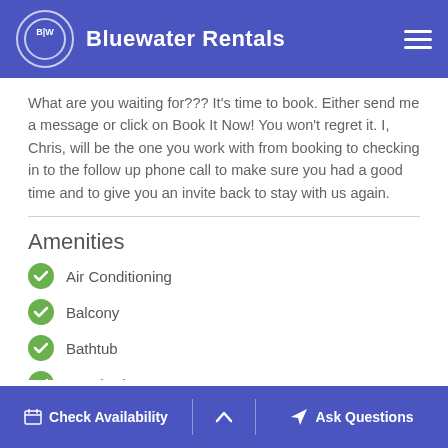Bluewater Rentals
What are you waiting for??? It's time to book. Either send me a message or click on Book It Now! You won't regret it. I, Chris, will be the one you work with from booking to checking in to the follow up phone call to make sure you had a good time and to give you an invite back to stay with us again.
Amenities
Air Conditioning
Balcony
Bathtub
Beach View
Check Availability | Ask Questions